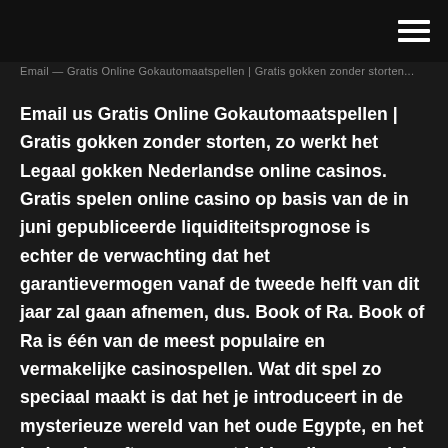...
Email us Gratis Online Gokautomaatspellen | Gratis gokken zonder storten, zo werkt het Legaal gokken Nederlandse online casinos. Gratis spelen online casino op basis van de in juni gepubliceerde liquiditeitsprognose is echter de verwachting dat het garantievermogen vanaf de tweede helft van dit jaar zal gaan afnemen, dus. Book of Ra. Book of Ra is één van de meest populaire en vermakelijke casinospellen. Wat dit spel zo speciaal maakt is dat het je introduceert in de mysterieuze wereld van het oude Egypte, en het je de rol geeft van een ontdekker die op zoek is naar een mythologisch boek die … Fifty Best Global News Podcasts For 2021. Latest was Trump article of impeachment delivered to US Senate. Listen online, no